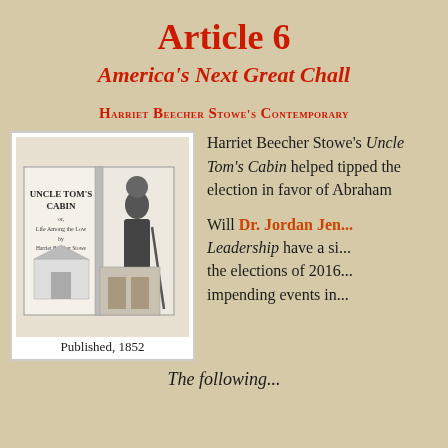Article 6
America's Next Great Chall
Harriet Beecher Stowe's Contemporary
[Figure (photo): Black and white illustration showing the cover of Uncle Tom's Cabin book with a standing man figure. Text reads 'UNCLE TOM'S CABIN, Life Among the Low by Harriet Beecher Stowe'. Caption: Published, 1852]
Harriet Beecher Stowe's Uncle Tom's Cabin helped tipped the election in favor of Abraham
Will Dr. Jordan Jen... Leadership have a si... the elections of 2016... impending events in...
The following...